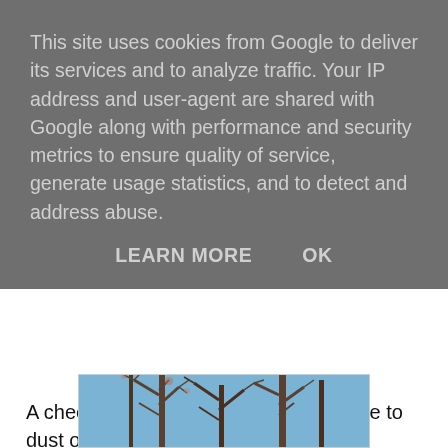This site uses cookies from Google to deliver its services and to analyze traffic. Your IP address and user-agent are shared with Google along with performance and security metrics to ensure quality of service, generate usage statistics, and to detect and address abuse.
LEARN MORE   OK
A cheecky self promotion and a promise to dust off my Insta and this blog and find some time in my busy "sit and do nothing" schedule to actually follow my advice. Today is Bretzel Sunday or Bretzelsonndag so if you don't see a pretzel on my Insta by evening, it is a sign I've had a huge fight with my husband as I understand this year is the year he has to give me a pretzel :) don't know why, I just want one.
What no picture? I better go and find one. In the meantime, pop on Instagram as there are all the cool things happening. You will find me @mademoiselle.ralu
[Figure (photo): Photo of bare tree branches against a blue sky]